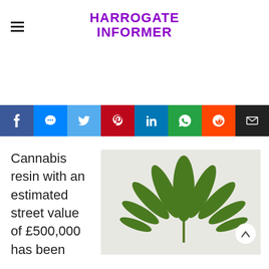HARROGATE INFORMER
[Figure (photo): Cannabis leaf on white background]
Cannabis resin with an estimated street value of £500,000 has been